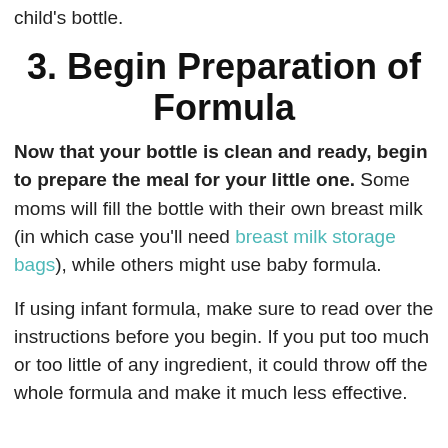child's bottle.
3. Begin Preparation of Formula
Now that your bottle is clean and ready, begin to prepare the meal for your little one. Some moms will fill the bottle with their own breast milk (in which case you'll need breast milk storage bags), while others might use baby formula.
If using infant formula, make sure to read over the instructions before you begin. If you put too much or too little of any ingredient, it could throw off the whole formula and make it much less effective.